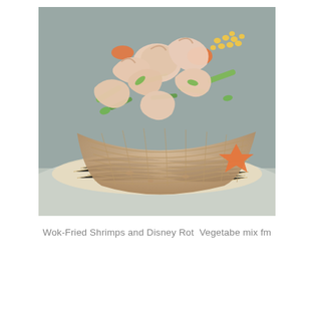[Figure (photo): Close-up photo of Wok-Fried Shrimps served in a crispy noodle basket on a white plate, with colorful vegetables including carrots, zucchini, corn, and star-shaped carrots.]
Wok-Fried Shrimps and Disney Rot  Vegetabe mix fm